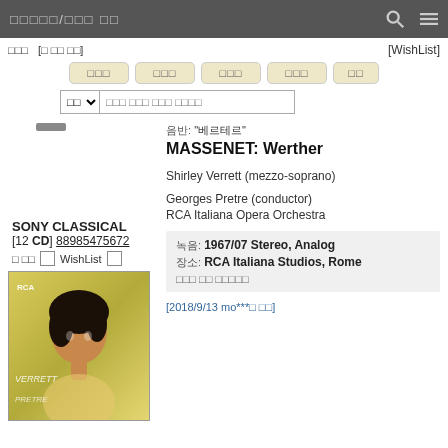□□□□□/□□□ □□  [search icon] [menu icon]
□□□  [□ □□ □□]  [WishList]
□□□  □□□  □□□  □□□  □□
□□  ▼  □□□ □□□ □□□ □□□□
음반: "베르테르"
MASSENET: Werther
Shirley Verrett (mezzo-soprano)
Georges Pretre (conductor)
RCA Italiana Opera Orchestra
SONY CLASSICAL
[12 CD] 88985475672
녹음: 1967/07 Stereo, Analog
장소: RCA Italiana Studios, Rome
□□□ □□ □□□□□
[2018/9/13 mo***□ □□]
[Figure (photo): Album cover showing a woman with dark hair against a yellow-green background, with text VERRETT and PRETRE]